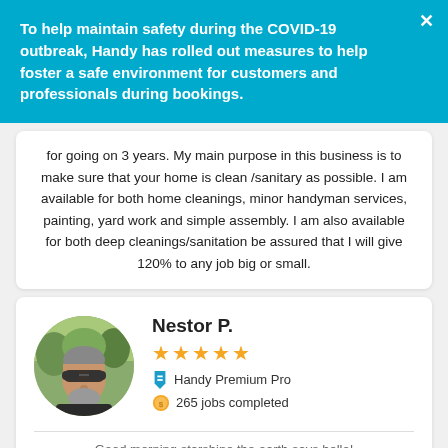To help maintain safety during the COVID-19 outbreak, Handy has rolled out measures to help foster a safe environment for customers and professionals during bookings.
for going on 3 years. My main purpose in this business is to make sure that your home is clean /sanitary as possible. I am available for both home cleanings, minor handyman services, painting, yard work and simple assembly. I am also available for both deep cleanings/sanitation be assured that I will give 120% to any job big or small.
[Figure (photo): Circular profile photo of Nestor P., a middle-aged man with grey hair and sunglasses, outdoors with trees in background.]
Nestor P.
★★★★★
Handy Premium Pro
265 jobs completed
Good morning starshine the earth says hello!